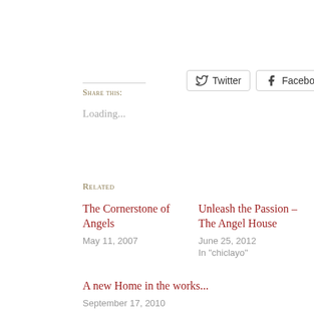Share this:
Loading...
Related
The Cornerstone of Angels
May 11, 2007
Unleash the Passion – The Angel House
June 25, 2012
In "chiclayo"
A new Home in the works...
September 17, 2010